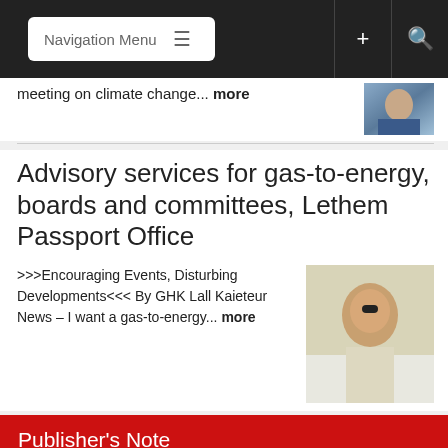Navigation Menu
meeting on climate change... more
Advisory services for gas-to-energy, boards and committees, Lethem Passport Office
>>>Encouraging Events, Disturbing Developments<<< By GHK Lall Kaieteur News – I want a gas-to-energy... more
Publisher's Note
Freedom of speech is our core value at Kaieteur News. If the letter/e-mail you sent was not published, and you believe that its contents were not libellous, let us know,